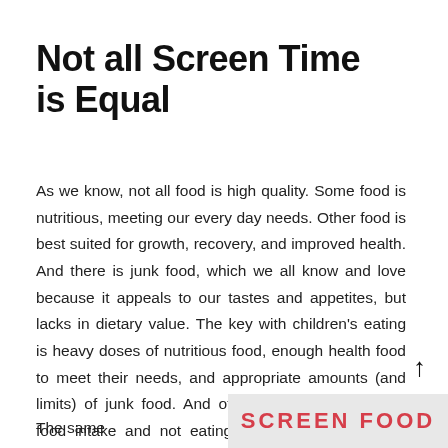Not all Screen Time is Equal
As we know, not all food is high quality. Some food is nutritious, meeting our every day needs. Other food is best suited for growth, recovery, and improved health. And there is junk food, which we all know and love because it appeals to our tastes and appetites, but lacks in dietary value. The key with children’s eating is heavy doses of nutritious food, enough health food to meet their needs, and appropriate amounts (and limits) of junk food. And of course, moderating our food intake and not eating to exces is equally as important.
The same
SCREEN FOOD